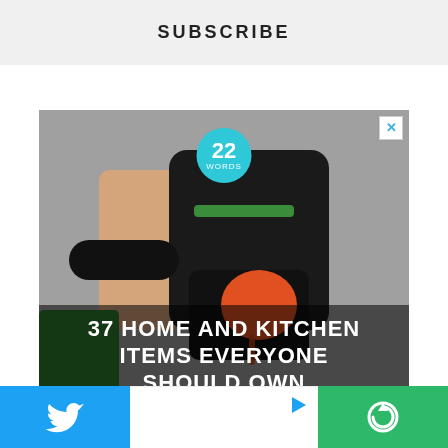SUBSCRIBE
[Figure (photo): Advertisement image showing hands using a kitchen gadget (tomato slicer/dicer) with text overlay '37 HOME AND KITCHEN ITEMS EVERYONE SHOULD OWN' and the '22 Words' logo badge in teal circle]
This website uses cookies to improve your experience. We'll assume you're ok with this, but you can opt-out if you wish.
Twitter share button | Advertisement play button | Studio icon button